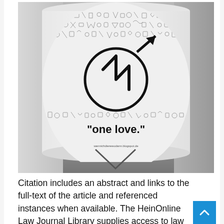[Figure (photo): A photograph of a cylindrical sticker on a pole. The sticker shows dense illustrated icons and objects in black and white, with a large circle containing a stylized lightning bolt/arrow symbol (resembling a male sign with a zigzag). Text on the sticker reads 'one love.' in bold, and a URL 'wennichdierewodann.blogspot.de' appears at the bottom of the sticker. The background shows a concrete pole and gray surface.]
Citation includes an abstract and links to the full-text of the article and referenced instances when available. The HeinOnline Law Journal Library supplies access to law reviews and journals. Use